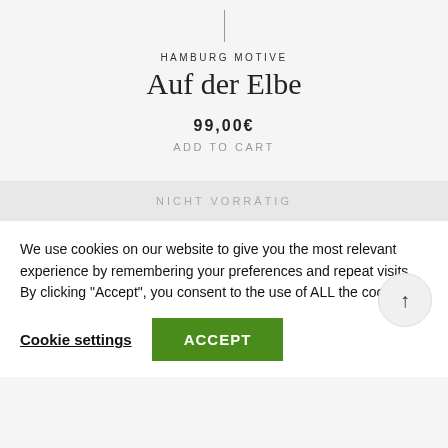HAMBURG MOTIVE
Auf der Elbe
99,00€
ADD TO CART
NICHT VORRÄTIG
We use cookies on our website to give you the most relevant experience by remembering your preferences and repeat visits. By clicking "Accept", you consent to the use of ALL the cookies.
Cookie settings
ACCEPT